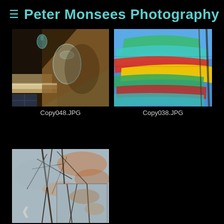≡ Peter Monsees Photography
[Figure (photo): Indoor scene with glass vases/bottles on a shelf with dramatic light and shadow, warm tones]
Copy048.JPG
[Figure (photo): Colorful kayaks or canoes stacked vertically against blue sky - green, yellow, red, teal colors]
Copy038.JPG
[Figure (photo): Abstract reflection of trees in water or ice with orange and grey tones, partially overlapping a smaller thumbnail]
<